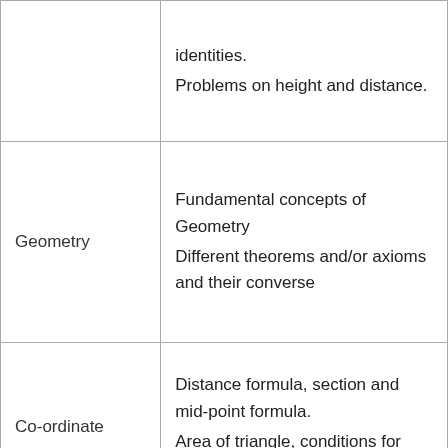|  | identities.
Problems on height and distance. |
| Geometry | Fundamental concepts of Geometry
Different theorems and/or axioms and their converse |
| Co-ordinate | Distance formula, section and mid-point formula.
Area of triangle, conditions for three points to be |